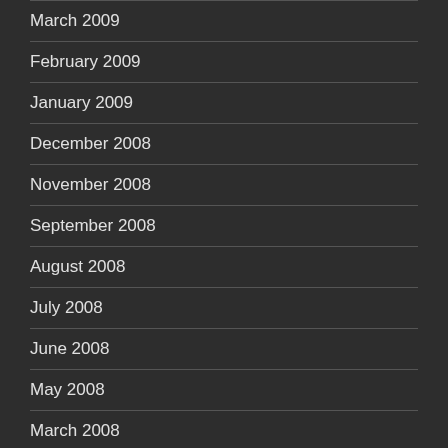March 2009
February 2009
January 2009
December 2008
November 2008
September 2008
August 2008
July 2008
June 2008
May 2008
March 2008